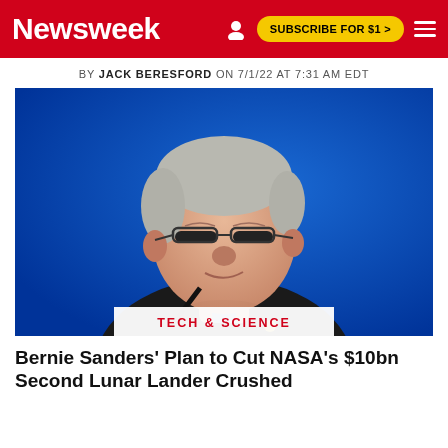Newsweek | SUBSCRIBE FOR $1 >
BY JACK BERESFORD ON 7/1/22 AT 7:31 AM EDT
[Figure (photo): Photo of Bernie Sanders speaking at a microphone against a blue background, wearing glasses and a dark suit with a pin on the lapel]
TECH & SCIENCE
Bernie Sanders' Plan to Cut NASA's $10bn Second Lunar Lander Crushed